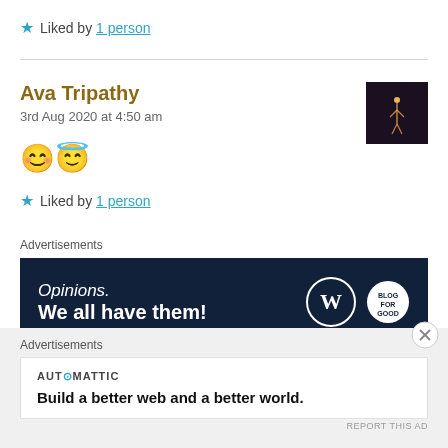★ Liked by 1 person
Ava Tripathy
3rd Aug 2020 at 4:50 am
😊 😇
★ Liked by 1 person
Advertisements
[Figure (screenshot): Advertisement banner: dark navy background with text 'Opinions. We all have them!' and WordPress and another brand logos on the right.]
REPORT THIS AD
Advertisements
[Figure (screenshot): Automattic advertisement: white background with logo and text 'Build a better web and a better world.']